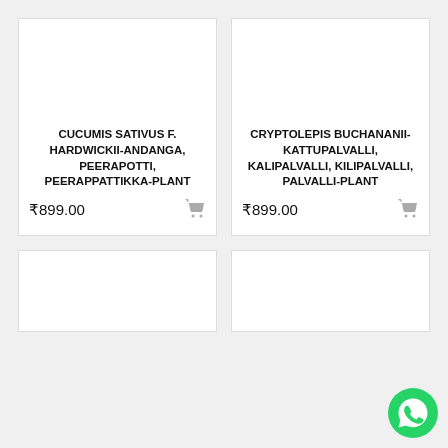CUCUMIS SATIVUS F. HARDWICKII-ANDANGA, PEERAPOTTI, PEERAPPATTIKKA-PLANT
₹899.00
CRYPTOLEPIS BUCHANANII-KATTUPALVALLI, KALIPALVALLI, KILIPALVALLI, PALVALLI-PLANT
₹899.00
[Figure (other): Bottom-left product card, image area only, partially visible]
[Figure (other): Bottom-right product card, image area only, partially visible]
[Figure (other): WhatsApp floating button icon (green circle with phone handset)]